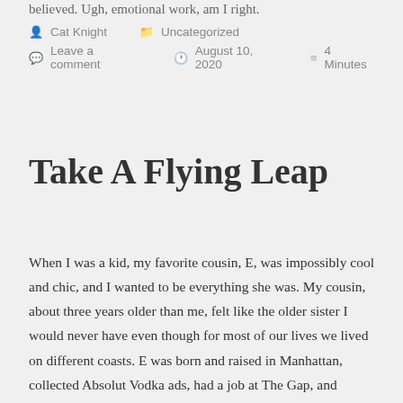believed. Ugh, emotional work, am I right.
Cat Knight   Uncategorized   Leave a comment   August 10, 2020   4 Minutes
Take A Flying Leap
When I was a kid, my favorite cousin, E, was impossibly cool and chic, and I wanted to be everything she was. My cousin, about three years older than me, felt like the older sister I would never have even though for most of our lives we lived on different coasts. E was born and raised in Manhattan, collected Absolut Vodka ads, had a job at The Gap, and